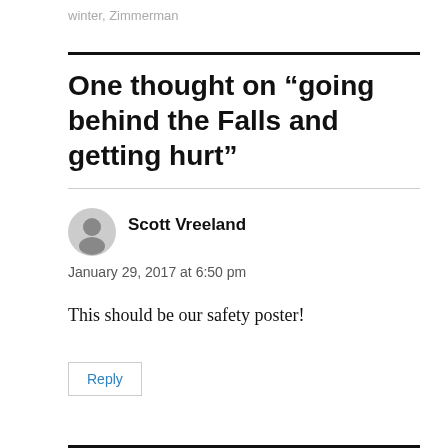winter, Zimmerman
One thought on “going behind the Falls and getting hurt”
Scott Vreeland
January 29, 2017 at 6:50 pm
This should be our safety poster!
Reply